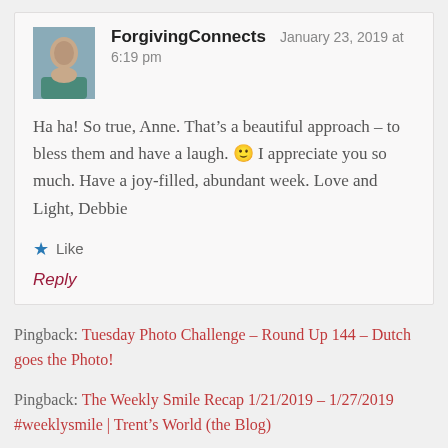ForgivingConnects   January 23, 2019 at 6:19 pm
Ha ha! So true, Anne. That’s a beautiful approach – to bless them and have a laugh. 🙂 I appreciate you so much. Have a joy-filled, abundant week. Love and Light, Debbie
★ Like
Reply
Pingback: Tuesday Photo Challenge – Round Up 144 – Dutch goes the Photo!
Pingback: The Weekly Smile Recap 1/21/2019 – 1/27/2019 #weeklysmile | Trent’s World (the Blog)